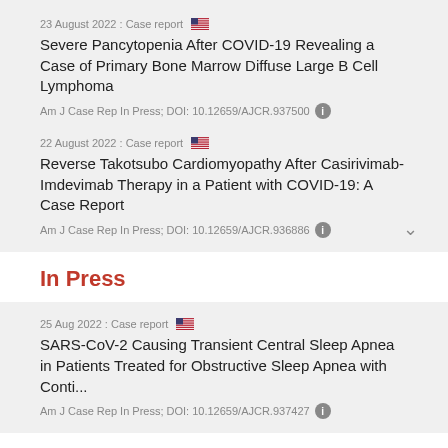23 August 2022 : Case report 🇺🇸
Severe Pancytopenia After COVID-19 Revealing a Case of Primary Bone Marrow Diffuse Large B Cell Lymphoma
Am J Case Rep In Press; DOI: 10.12659/AJCR.937500
22 August 2022 : Case report 🇺🇸
Reverse Takotsubo Cardiomyopathy After Casirivimab-Imdevimab Therapy in a Patient with COVID-19: A Case Report
Am J Case Rep In Press; DOI: 10.12659/AJCR.936886
In Press
25 Aug 2022 : Case report 🇺🇸
SARS-CoV-2 Causing Transient Central Sleep Apnea in Patients Treated for Obstructive Sleep Apnea with Conti...
Am J Case Rep In Press; DOI: 10.12659/AJCR.937427